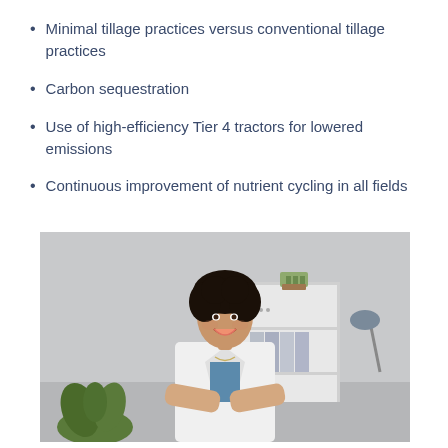Minimal tillage practices versus conventional tillage practices
Carbon sequestration
Use of high-efficiency Tier 4 tractors for lowered emissions
Continuous improvement of nutrient cycling in all fields
[Figure (photo): A smiling woman in a white lab coat with arms crossed, standing in an office with a bookshelf, plant and desk lamp in the background.]